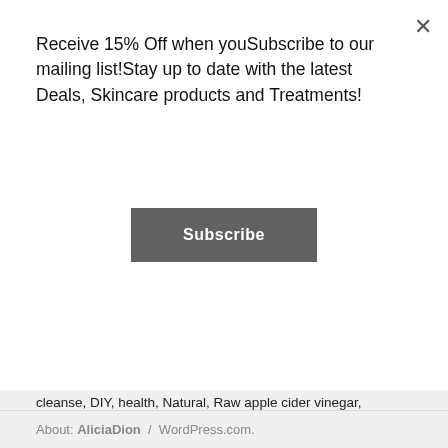Receive 15% Off when youSubscribe to our mailing list!Stay up to date with the latest Deals, Skincare products and Treatments!
[Figure (other): Subscribe button — dark grey rectangular button with white text 'Subscribe']
LIKE THIS:
Loading...
April 30, 2017   Beauty Favs, natural hair, Weekly Discussions   ACV, apple cider vinegar, beauty, detox cleanse, DIY, health, Natural, Raw apple cider vinegar, shampoo, skin care, toner   6 Comments
About: AliciaDion  /  WordPress.com.